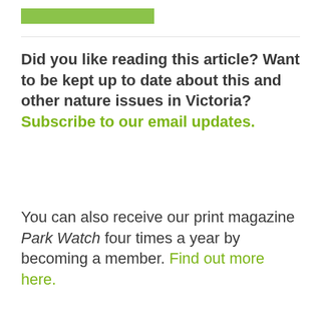[Figure (other): Green horizontal bar/stripe used as a decorative header element]
Did you like reading this article? Want to be kept up to date about this and other nature issues in Victoria? Subscribe to our email updates.
You can also receive our print magazine Park Watch four times a year by becoming a member. Find out more here.